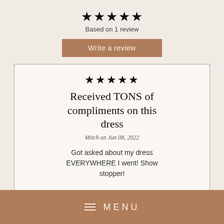[Figure (other): Five filled black stars rating]
Based on 1 review
Write a review
[Figure (other): Five filled black stars rating inside review card]
Received TONS of compliments on this dress
Mitch on Jun 08, 2022
Got asked about my dress EVERYWHERE I went! Show stopper!
MENU